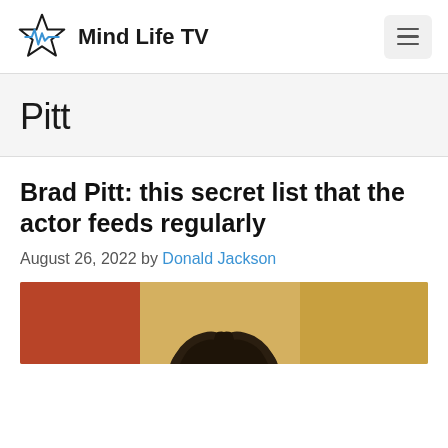Mind Life TV
Pitt
Brad Pitt: this secret list that the actor feeds regularly
August 26, 2022 by Donald Jackson
[Figure (photo): Photo of Brad Pitt, partially visible at bottom of page, dark hair visible against a colorful background]